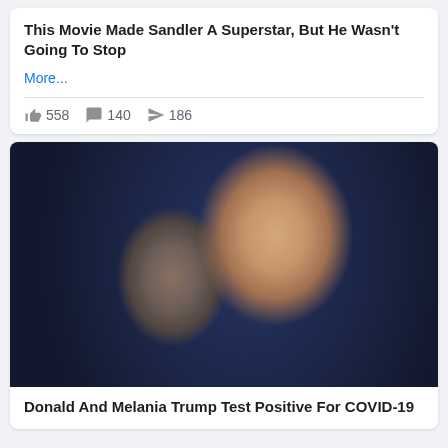This Movie Made Sandler A Superstar, But He Wasn't Going To Stop
More...
558  140  186
[Figure (photo): Photo of Donald Trump and Melania Trump walking together outdoors. Trump is wearing a navy blue suit with a striped red and blue tie. Melania is wearing a dark pinstripe blazer and sunglasses with her hair blowing in the wind.]
Donald And Melania Trump Test Positive For COVID-19